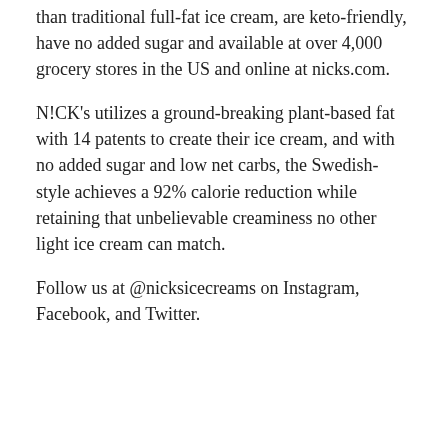than traditional full-fat ice cream, are keto-friendly, have no added sugar and available at over 4,000 grocery stores in the US and online at nicks.com.
N!CK's utilizes a ground-breaking plant-based fat with 14 patents to create their ice cream, and with no added sugar and low net carbs, the Swedish-style achieves a 92% calorie reduction while retaining that unbelievable creaminess no other light ice cream can match.
Follow us at @nicksicecreams on Instagram, Facebook, and Twitter.